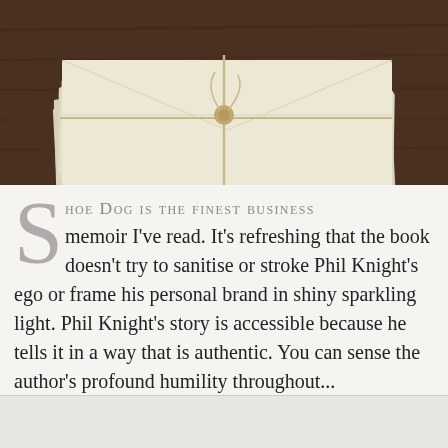[Figure (photo): Stack of cream-colored envelopes tied with twine, placed on a dark wooden surface, photographed from above.]
Shoe Dog is the finest business memoir I've read. It's refreshing that the book doesn't try to sanitise or stroke Phil Knight's ego or frame his personal brand in shiny sparkling light. Phil Knight's story is accessible because he tells it in a way that is authentic. You can sense the author's profound humility throughout...